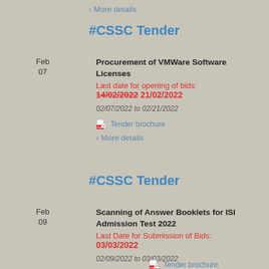> More details
#CSSC Tender
Procurement of VMWare Software Licenses
Last date for opening of bids:
14/02/2022 21/02/2022
02/07/2022 to 02/21/2022
Tender brochure
> More details
#CSSC Tender
Scanning of Answer Booklets for ISI Admission Test 2022
Last Date for Submission of Bids:
03/03/2022
02/09/2022 to 03/03/2022
Tender brochure